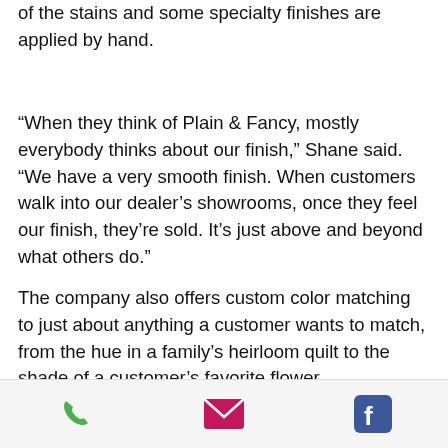of the stains and some specialty finishes are applied by hand.
“When they think of Plain & Fancy, mostly everybody thinks about our finish,” Shane said. “We have a very smooth finish. When customers walk into our dealer’s showrooms, once they feel our finish, they’re sold. It’s just above and beyond what others do.”
The company also offers custom color matching to just about anything a customer wants to match, from the hue in a family’s heirloom quilt to the shade of a customer’s favorite flower.
[Figure (infographic): Footer bar with three icons: a green phone icon, a magenta/pink email envelope icon, and a blue Facebook icon]